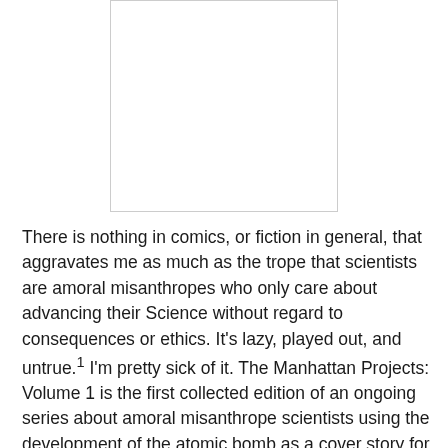[Figure (illustration): A white rectangular image area, appears to be a book cover or comic image placeholder with a light gray border.]
There is nothing in comics, or fiction in general, that aggravates me as much as the trope that scientists are amoral misanthropes who only care about advancing their Science without regard to consequences or ethics. It's lazy, played out, and untrue.¹ I'm pretty sick of it. The Manhattan Projects: Volume 1 is the first collected edition of an ongoing series about amoral misanthrope scientists using the development of the atomic bomb as a cover story for a kaleidoscope of Mad Science. The comic sees beloved real life scientists, such as Feynman, Einstein, and Oppenheimer,